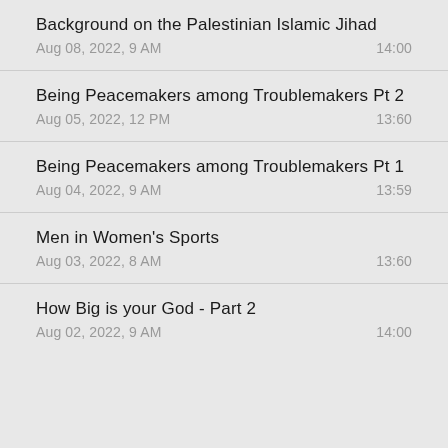Background on the Palestinian Islamic Jihad
Aug 08, 2022, 9 AM	14:00
Being Peacemakers among Troublemakers Pt 2
Aug 05, 2022, 12 PM	13:60
Being Peacemakers among Troublemakers Pt 1
Aug 04, 2022, 9 AM	13:59
Men in Women's Sports
Aug 03, 2022, 8 AM	13:60
How Big is your God - Part 2
Aug 02, 2022, 9 AM	14:00